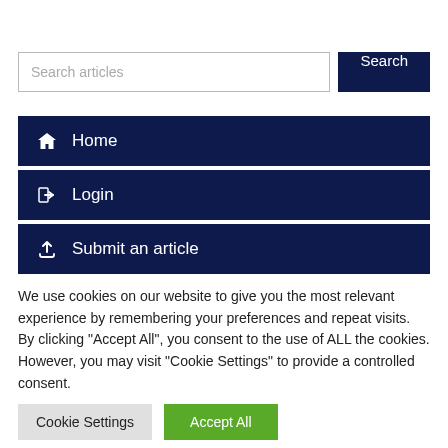Search articles
Home
Login
Submit an article
We use cookies on our website to give you the most relevant experience by remembering your preferences and repeat visits. By clicking "Accept All", you consent to the use of ALL the cookies. However, you may visit "Cookie Settings" to provide a controlled consent.
Cookie Settings
Accept All